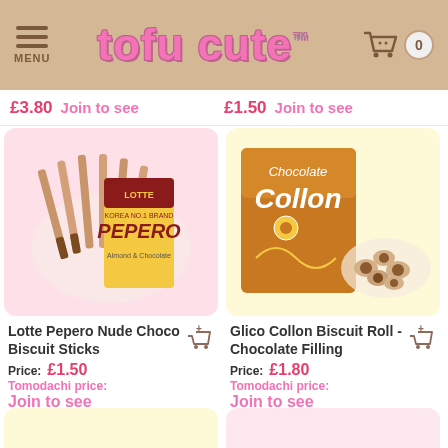tofu cute™ — MENU, cart icon, 0
£3.80  Join to see    £1.50  Join to see
[Figure (photo): Lotte Pepero Nude Choco Biscuit Sticks product photo on pink background]
Lotte Pepero Nude Choco Biscuit Sticks
Price: £1.50   Tomodachi price: Join to see
[Figure (photo): Glico Collon Biscuit Roll Chocolate Filling product photo on yellow background]
Glico Collon Biscuit Roll - Chocolate Filling
Price: £1.80   Tomodachi price: Join to see